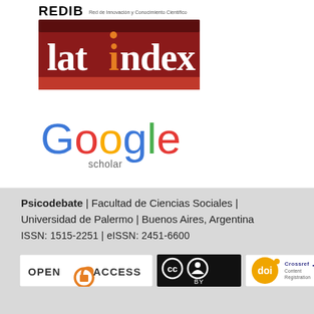[Figure (logo): REDIB logo with tagline 'Red de Innovación y Conocimiento Científico']
[Figure (logo): Latindex logo - red/dark red background with 'latindex' text in white/orange]
[Figure (logo): Google Scholar logo - multicolored Google text with 'scholar' subtitle]
Psicodebate | Facultad de Ciencias Sociales | Universidad de Palermo | Buenos Aires, Argentina
ISSN: 1515-2251 | eISSN: 2451-6600
[Figure (logo): Open Access badge]
[Figure (logo): Creative Commons BY license badge]
[Figure (logo): DOI and Crossref Content Registration badge]